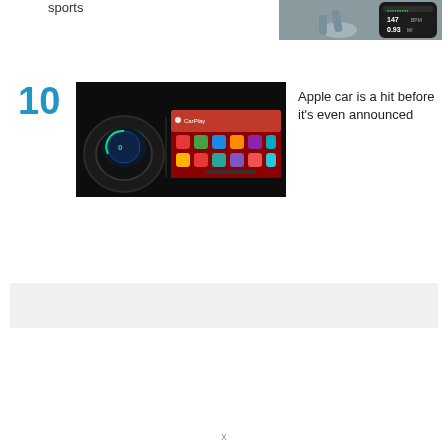sports
[Figure (photo): Person running with Apple Watch showing fitness stats: 147 BPM, 0.93 MI]
10
[Figure (photo): Car interior dashboard with CarPlay interface showing colorful app icons on a dark screen]
Apple car is a hit before it's even announced
[Figure (other): Gray advertisement banner]